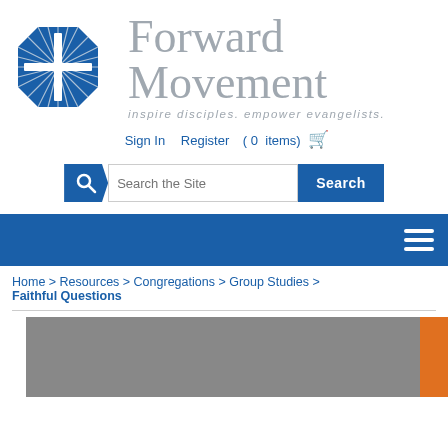[Figure (logo): Forward Movement logo: blue octagonal shape with white cross and radiating lines, next to 'Forward Movement' text in gray with tagline 'inspire disciples. empower evangelists.']
Sign In   Register   ( 0  items) 🛒
[Figure (screenshot): Search bar with blue search icon tag shape, text input 'Search the Site', and blue Search button]
[Figure (screenshot): Blue navigation bar with hamburger menu icon on the right]
Home > Resources > Congregations > Group Studies > Faithful Questions
[Figure (photo): Partial book cover image showing gray and orange background, bottom of the page]